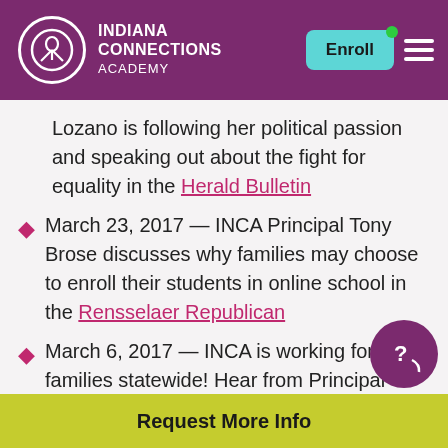Indiana Connections Academy — Enroll
Lozano is following her political passion and speaking out about the fight for equality in the Herald Bulletin
March 23, 2017 — INCA Principal Tony Brose discusses why families may choose to enroll their students in online school in the Rensselaer Republican
March 6, 2017 — INCA is working for families statewide! Hear from Principal Durham, and Lemmon families about
Request More Info